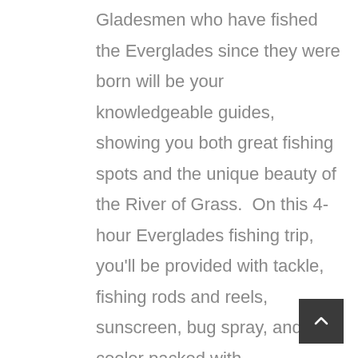Gladesmen who have fished the Everglades since they were born will be your knowledgeable guides, showing you both great fishing spots and the unique beauty of the River of Grass. On this 4-hour Everglades fishing trip, you'll be provided with tackle, fishing rods and reels, sunscreen, bug spray, and a cooler packed with refreshments from our store.